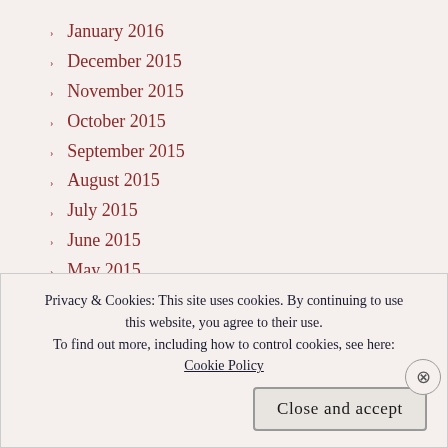January 2016
December 2015
November 2015
October 2015
September 2015
August 2015
July 2015
June 2015
May 2015
April 2015
March 2015
Privacy & Cookies: This site uses cookies. By continuing to use this website, you agree to their use.
To find out more, including how to control cookies, see here: Cookie Policy
Close and accept